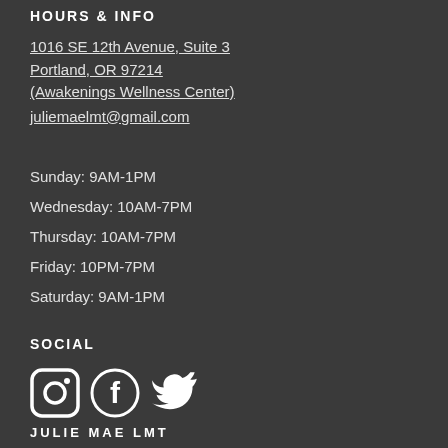HOURS & INFO
1016 SE 12th Avenue, Suite 3
Portland, OR 97214
(Awakenings Wellness Center)
juliemaelmt@gmail.com
Sunday: 9AM-1PM
Wednesday: 10AM-7PM
Thursday: 10AM-7PM
Friday: 10PM-7PM
Saturday: 9AM-1PM
SOCIAL
[Figure (illustration): Three social media icons: Instagram, Facebook, Twitter in white on dark background]
JULIE MAE LMT